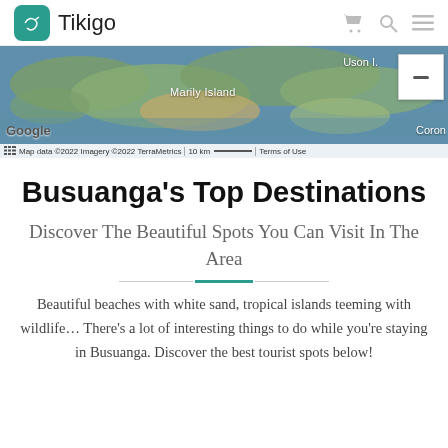Tikigo
[Figure (map): Satellite/aerial map showing Busuanga area with labels: Marily Island, Uson I., Coron. Google Maps interface with zoom controls and map attribution bar.]
Busuanga's Top Destinations
Discover The Beautiful Spots You Can Visit In The Area
Beautiful beaches with white sand, tropical islands teeming with wildlife… There's a lot of interesting things to do while you're staying in Busuanga. Discover the best tourist spots below!